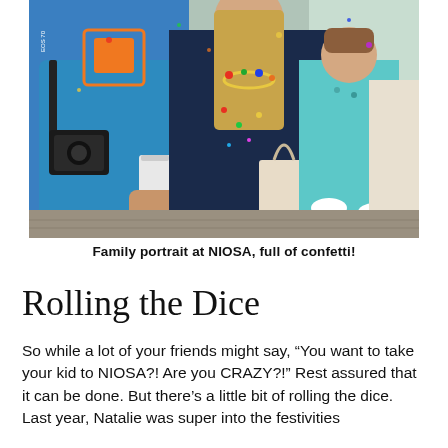[Figure (photo): Family photo at NIOSA event. Three people visible: person on left wearing blue teal shirt with orange design and camera strap, holding a cup; woman in center wearing dark navy dress with colorful necklace and bracelets, holding a small child wearing turquoise outfit. Background is an outdoor street/plaza setting.]
Family portrait at NIOSA, full of confetti!
Rolling the Dice
So while a lot of your friends might say, “You want to take your kid to NIOSA?! Are you CRAZY?!” Rest assured that it can be done. But there’s a little bit of rolling the dice. Last year, Natalie was super into the festivities